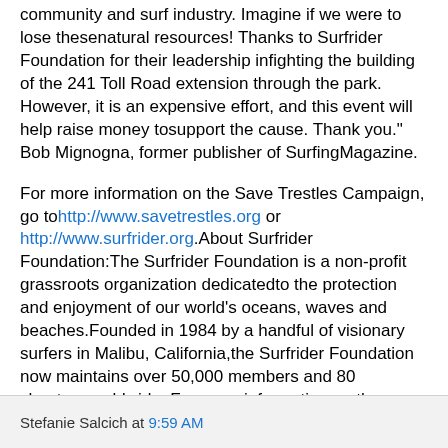community and surf industry. Imagine if we were to lose thesenatural resources! Thanks to Surfrider Foundation for their leadership infighting the building of the 241 Toll Road extension through the park. However, it is an expensive effort, and this event will help raise money tosupport the cause. Thank you." Bob Mignogna, former publisher of SurfingMagazine.
For more information on the Save Trestles Campaign, go tohttp://www.savetrestles.org or http://www.surfrider.org.About Surfrider Foundation:The Surfrider Foundation is a non-profit grassroots organization dedicatedto the protection and enjoyment of our world's oceans, waves and beaches.Founded in 1984 by a handful of visionary surfers in Malibu, California,the Surfrider Foundation now maintains over 50,000 members and 80 chaptersworldwide. For more information on the Surfrider Foundation, go towww.surfrider.org.For More information about the "FEMININE WAVES" event go tohttp://www.havassyart.com and http://www.solgrill.com.
Stefanie Salcich at 9:59 AM